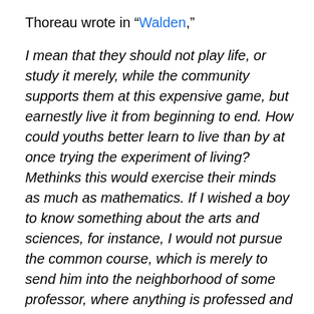Thoreau wrote in “Walden,”
I mean that they should not play life, or study it merely, while the community supports them at this expensive game, but earnestly live it from beginning to end. How could youths better learn to live than by at once trying the experiment of living? Methinks this would exercise their minds as much as mathematics. If I wished a boy to know something about the arts and sciences, for instance, I would not pursue the common course, which is merely to send him into the neighborhood of some professor, where anything is professed and practised but the art of life; — to survey the world through a telescope or a microscope, and never with his natural eye; to study chemistry, and not learn how his bread is made, or mechanics, and not learn how it is earned; to discover new satellites to Neptune, and not detect the motes in his eyes, or to what vagabond